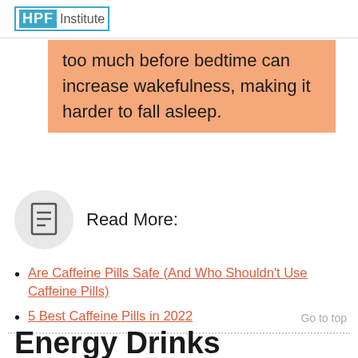HPF Institute
too much before bedtime can increase wakefulness, making it harder to fall asleep.
Read More:
Are Caffeine Pills Safe (And Who Shouldn't Use Caffeine Pills)
5 Best Caffeine Pills in 2022
Go to top
Energy Drinks